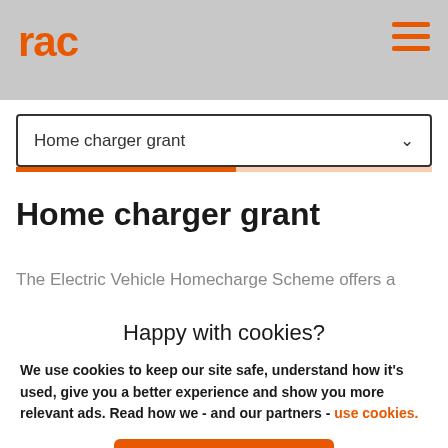[Figure (logo): RAC orange logo in top-left of header bar with hamburger menu icon in orange on top-right, overlaid on a grey car background image]
Home charger grant
Home charger grant
The Electric Vehicle Homecharge Scheme offers a 75%
Happy with cookies?
We use cookies to keep our site safe, understand how it's used, give you a better experience and show you more relevant ads. Read how we - and our partners - use cookies.
Yes, that's fine
No, manage cookies